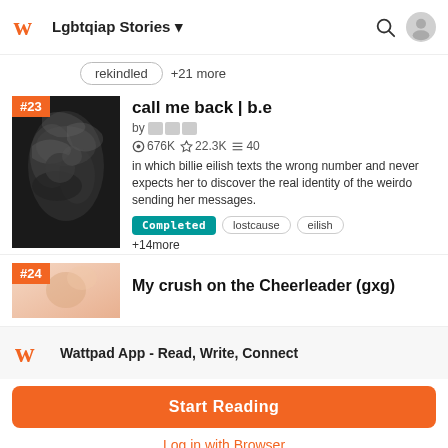Lgbtqiap Stories
rekindled +21 more
[Figure (photo): Story cover for 'call me back | b.e' — black and white smoky artistic photo, ranked #23]
call me back | b.e
by [author]
676K ★22.3K ≡40
in which billie eilish texts the wrong number and never expects her to discover the real identity of the weirdo sending her messages.
Completed  lostcause  eilish  +14more
My crush on the Cheerleader (gxg)
Wattpad App - Read, Write, Connect
Start Reading
Log in with Browser